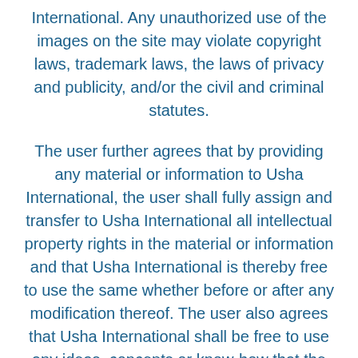International. Any unauthorized use of the images on the site may violate copyright laws, trademark laws, the laws of privacy and publicity, and/or the civil and criminal statutes.
The user further agrees that by providing any material or information to Usha International, the user shall fully assign and transfer to Usha International all intellectual property rights in the material or information and that Usha International is thereby free to use the same whether before or after any modification thereof. The user also agrees that Usha International shall be free to use any ideas, concepts or know-how that the user may provide to Usha International.
Changes